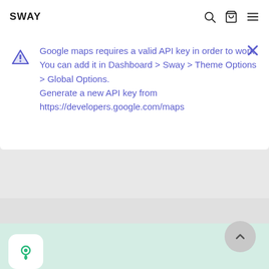SWAY
Google maps requires a valid API key in order to work.
You can add it in Dashboard > Sway > Theme Options > Global Options.
Generate a new API key from https://developers.google.com/maps
[Figure (screenshot): Light green map area placeholder with gray separator band above it, scroll-to-top button (chevron up) at bottom right, and a map pin icon card at bottom left]